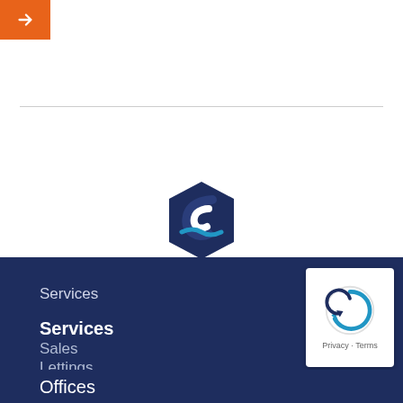[Figure (other): Orange button with white right-arrow icon in top-left corner]
[Figure (logo): Hexagonal logo with dark navy and blue wave/curl design, company branding logo]
Services
Services
Sales
Lettings
Surveys
[Figure (other): reCAPTCHA badge widget showing the reCAPTCHA symbol with Privacy and Terms links]
Offices